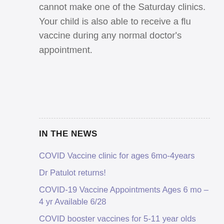cannot make one of the Saturday clinics. Your child is also able to receive a flu vaccine during any normal doctor's appointment.
IN THE NEWS
COVID Vaccine clinic for ages 6mo-4years
Dr Patulot returns!
COVID-19 Vaccine Appointments Ages 6 mo – 4 yr Available 6/28
COVID booster vaccines for 5-11 year olds